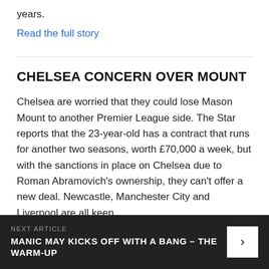years.
Read the full story
CHELSEA CONCERN OVER MOUNT
Chelsea are worried that they could lose Mason Mount to another Premier League side. The Star reports that the 23-year-old has a contract that runs for another two seasons, worth £70,000 a week, but with the sanctions in place on Chelsea due to Roman Abramovich's ownership, they can't offer a new deal. Newcastle, Manchester City and Liverpool are all keen.
NEXT ARTICLE
MANIC MAY KICKS OFF WITH A BANG - THE WARM-UP